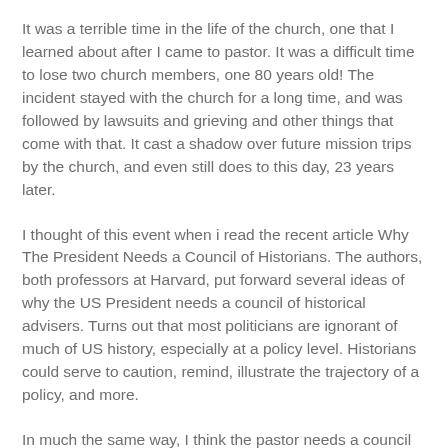It was a terrible time in the life of the church, one that I learned about after I came to pastor.  It was a difficult time to lose two church members, one 80 years old!  The incident stayed with the church for a long time, and was followed by lawsuits and grieving and other things that come with that.  It cast a shadow over future mission trips by the church, and even still does to this day, 23 years later.
I thought of this event when i read the recent article Why The President Needs a Council of Historians.  The authors, both professors at Harvard, put forward several ideas of why the US President needs a council of historical advisers. Turns out that most politicians are ignorant of much of US history, especially at a policy level.  Historians could serve to caution, remind, illustrate the trajectory of a policy, and more.
In much the same way, I think the pastor needs a council of historians around him.  I do think that all pastors need to